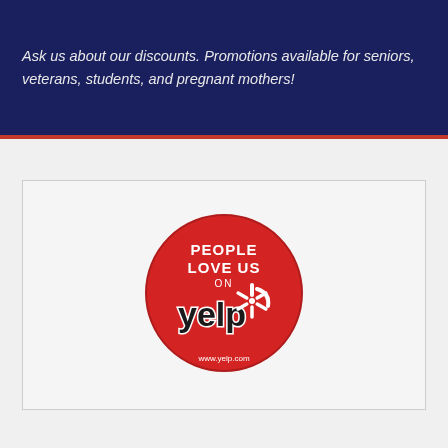Ask us about our discounts. Promotions available for seniors, veterans, students, and pregnant mothers!
[Figure (logo): Yelp 'People Love Us On Yelp' badge — red circle with white text PEOPLE LOVE US ON yelp* and www.yelp.com at bottom]